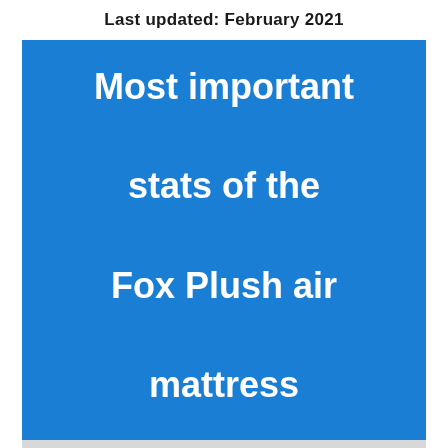Last updated: February 2021
Most important stats of the Fox Plush air mattress
1 in 133 owners of this Fox reported an air leak within the first month of use (0.78%